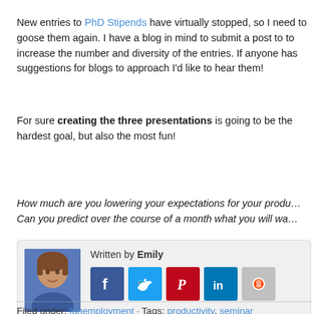New entries to PhD Stipends have virtually stopped, so I need to goose them again. I have a blog in mind to submit a post to to increase the number and diversity of the entries. If anyone has suggestions for blogs to approach I'd like to hear them!
For sure creating the three presentations is going to be the hardest goal, but also the most fun!
How much are you lowering your expectations for your productivity? Can you predict over the course of a month what you will wa…
[Figure (other): Author bio box with photo of Emily and social sharing icons for Facebook, Twitter, Pinterest, LinkedIn, and Reddit. Written by Emily.]
Filed under: funemployment · Tags: productivity, seminar